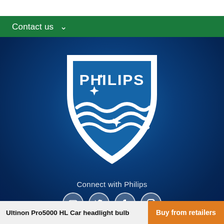Contact us
[Figure (logo): Philips shield logo with stars and wave pattern on blue gradient background, white on blue]
Connect with Philips
[Figure (infographic): Row of four social media icons: YouTube, Twitter, Facebook, Instagram — white circle outlines on blue background]
Ultinon Pro5000 HL Car headlight bulb
Buy from retailers